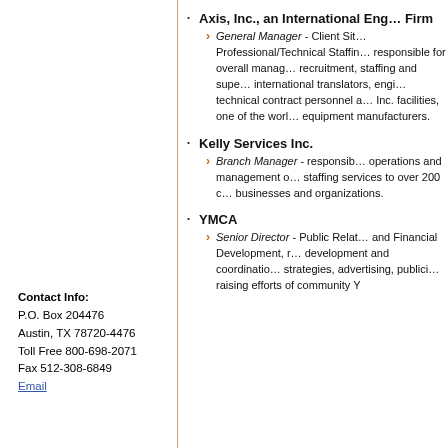Axis, Inc., an International Engineering Firm
General Manager - Client Site Professional/Technical Staffing; responsible for overall management, recruitment, staffing and supervision of international translators, engineers, technical contract personnel at Axis, Inc. facilities, one of the world's equipment manufacturers.
Kelly Services Inc.
Branch Manager - responsible for operations and management of staffing services to over 200 c businesses and organizations.
YMCA
Senior Director - Public Relations and Financial Development, responsible for development and coordination of marketing strategies, advertising, publicity and fund raising efforts of community Y
Contact Info:
P.O. Box 204476
Austin, TX 78720-4476
Toll Free 800-698-2071
Fax 512-308-6849
Email